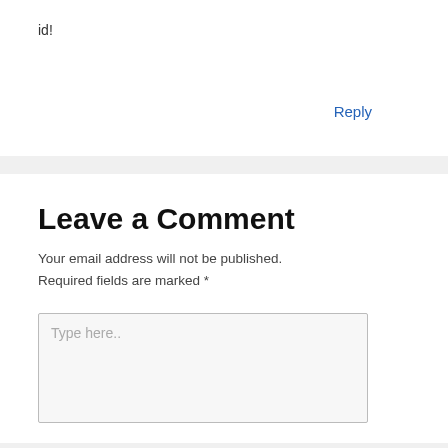id!
Reply
Leave a Comment
Your email address will not be published. Required fields are marked *
Type here..